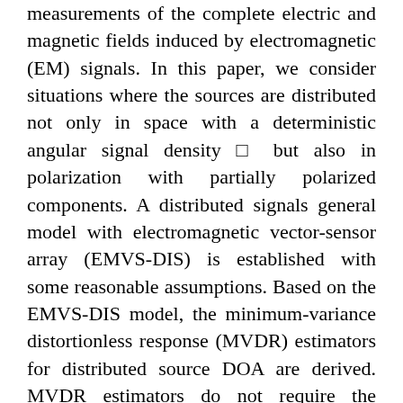measurements of the complete electric and magnetic fields induced by electromagnetic (EM) signals. In this paper, we consider situations where the sources are distributed not only in space with a deterministic angular signal density □ but also in polarization with partially polarized components. A distributed signals general model with electromagnetic vector-sensor array (EMVS-DIS) is established with some reasonable assumptions. Based on the EMVS-DIS model, the minimum-variance distortionless response (MVDR) estimators for distributed source DOA are derived. MVDR estimators do not require the knowledge of the effective dimension of the pseudosignal subspace. We compare our method with the distributed